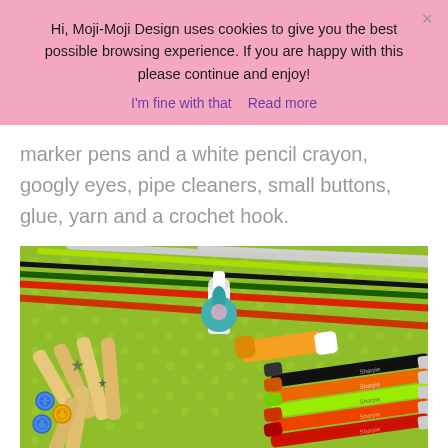Hi, Moji-Moji Design uses cookies to give you the best possible browsing experience. If you are happy with this please continue and enjoy!
I'm fine with that  Read more
marker pens and a white pencil crayon, googly eyes, pipe cleaners, small buttons, glue, yarn and a crochet hook.
[Figure (photo): Photo of craft supplies on a green polka-dot surface: pipe cleaners in various colors (white/grey, yellow-green, black, dark green, red/orange), a bottle of glue with a decorative flower on cap, Sharpie marker pens (black, orange/red, lime green, orange, red), craft sticks/popsicle sticks, small buttons, and star-shaped embellishments.]